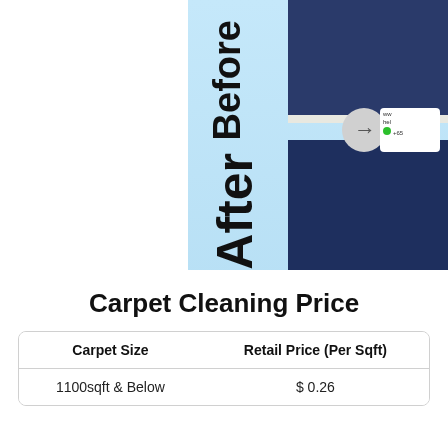[Figure (photo): Before and after carpet cleaning comparison image. Left side shows 'Before' text vertically and 'After' text vertically on a light blue background. Right side shows dark navy blue carpet photos. Includes a circular arrow button and a chat bubble overlay.]
Carpet Cleaning Price
| Carpet Size | Retail Price (Per Sqft) |
| --- | --- |
| 1100sqft & Below | $ 0.26 |